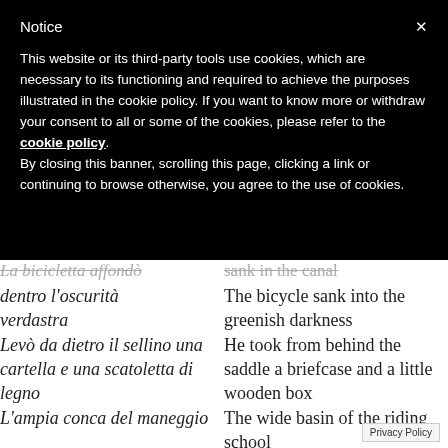Notice
This website or its third-party tools use cookies, which are necessary to its functioning and required to achieve the purposes illustrated in the cookie policy. If you want to know more or withdraw your consent to all or some of the cookies, please refer to the cookie policy.
By closing this banner, scrolling this page, clicking a link or continuing to browse otherwise, you agree to the use of cookies.
dentro l'oscurità verdastra | The bicycle sank into the greenish darkness
Levò da dietro il sellino una cartella e una scatoletta di legno | He took from behind the saddle a briefcase and a little wooden box
L'ampia conca del maneggio | The wide basin of the riding school